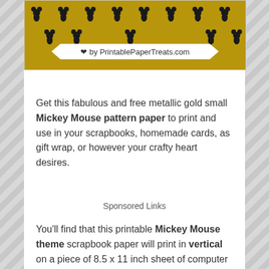[Figure (illustration): Metallic gold background with Mickey Mouse pattern and a banner label reading 'by PrintablePaperTreats.com']
Get this fabulous and free metallic gold small Mickey Mouse pattern paper to print and use in your scrapbooks, homemade cards, as gift wrap, or however your crafty heart desires.
Sponsored Links
You'll find that this printable Mickey Mouse theme scrapbook paper will print in vertical on a piece of 8.5 x 11 inch sheet of computer paper. It's also a high quality file at 300 DPI.